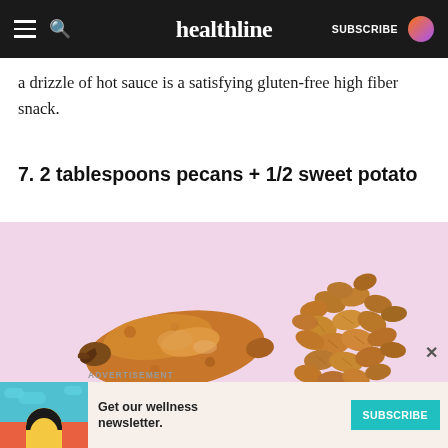healthline  SUBSCRIBE
a drizzle of hot sauce is a satisfying gluten-free high fiber snack.
7. 2 tablespoons pecans + 1/2 sweet potato
[Figure (photo): A halved sweet potato and a pile of pecan nuts on a pink background]
ADVERTISEMENT
Get our wellness newsletter.  SUBSCRIBE